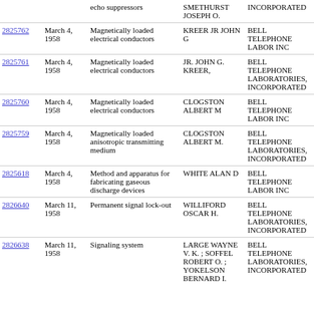| Patent | Date | Title | Inventor | Assignee |
| --- | --- | --- | --- | --- |
|  |  | echo suppressors | SMETHURST JOSEPH O. | INCORPORATED |
| 2825762 | March 4, 1958 | Magnetically loaded electrical conductors | KREER JR JOHN G | BELL TELEPHONE LABOR INC |
| 2825761 | March 4, 1958 | Magnetically loaded electrical conductors | JR. JOHN G. KREER, | BELL TELEPHONE LABORATORIES, INCORPORATED |
| 2825760 | March 4, 1958 | Magnetically loaded electrical conductors | CLOGSTON ALBERT M | BELL TELEPHONE LABOR INC |
| 2825759 | March 4, 1958 | Magnetically loaded anisotropic transmitting medium | CLOGSTON ALBERT M. | BELL TELEPHONE LABORATORIES, INCORPORATED |
| 2825618 | March 4, 1958 | Method and apparatus for fabricating gaseous discharge devices | WHITE ALAN D | BELL TELEPHONE LABOR INC |
| 2826640 | March 11, 1958 | Permanent signal lock-out | WILLIFORD OSCAR H. | BELL TELEPHONE LABORATORIES, INCORPORATED |
| 2826638 | March 11, 1958 | Signaling system | LARGE WAYNE V. K. ; SOFFEL ROBERT O. ; YOKELSON BERNARD I. | BELL TELEPHONE LABORATORIES, INCORPORATED |